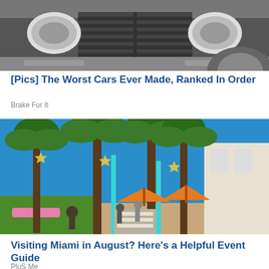[Figure (photo): Black and white photo of a vintage car front grille and headlights, partial view]
[Pics] The Worst Cars Ever Made, Ranked In Order
Brake For It
[Figure (photo): Colorful photo of Lincoln Road Mall in Miami Beach with tall palm trees, orange umbrellas, pink benches, and blue sky]
Visiting Miami in August? Here's a Helpful Event Guide
PluS Me